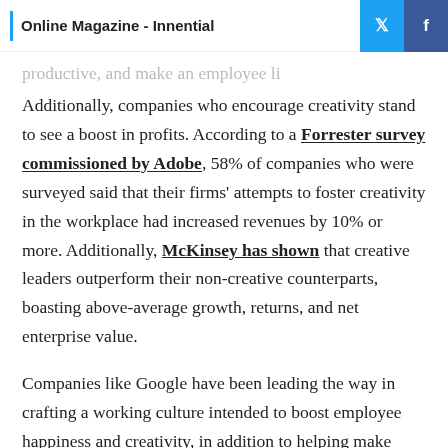Online Magazine - Innential
Additionally, companies who encourage creativity stand to see a boost in profits. According to a Forrester survey commissioned by Adobe, 58% of companies who were surveyed said that their firms' attempts to foster creativity in the workplace had increased revenues by 10% or more. Additionally, McKinsey has shown that creative leaders outperform their non-creative counterparts, boasting above-average growth, returns, and net enterprise value.
Companies like Google have been leading the way in crafting a working culture intended to boost employee happiness and creativity, in addition to helping make employees more productive and innovative. If you've